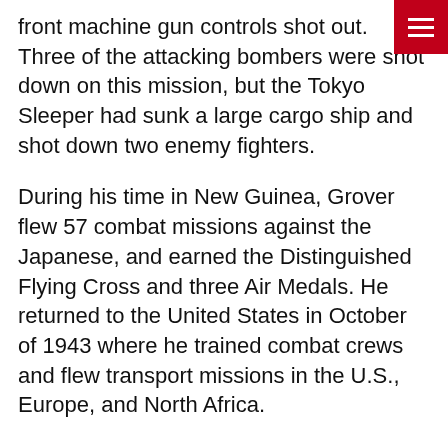front machine gun controls shot out. Three of the attacking bombers were shot down on this mission, but the Tokyo Sleeper had sunk a large cargo ship and shot down two enemy fighters.
During his time in New Guinea, Grover flew 57 combat missions against the Japanese, and earned the Distinguished Flying Cross and three Air Medals. He returned to the United States in October of 1943 where he trained combat crews and flew transport missions in the U.S., Europe, and North Africa.
During his time in the military, Roy Lee Grover was a pilot, comptroller, deputy base commander, and management analyst at the Air Defense Command in Colorado. He retired in 1964, as a Lt. Colonel, and then worked in the aerospace industry as an operations research analyst.
Recalling his war time experiences, Grover said